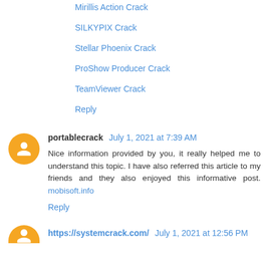Mirillis Action Crack
SILKYPIX Crack
Stellar Phoenix Crack
ProShow Producer Crack
TeamViewer Crack
Reply
portablecrack July 1, 2021 at 7:39 AM
Nice information provided by you, it really helped me to understand this topic. I have also referred this article to my friends and they also enjoyed this informative post. mobisoft.info
Reply
https://systemcrack.com/ July 1, 2021 at 12:56 PM